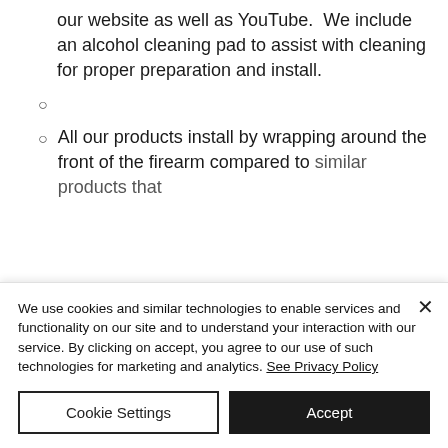our website as well as YouTube.  We include an alcohol cleaning pad to assist with cleaning for proper preparation and install.
All our products install by wrapping around the front of the firearm compared to similar products that
We use cookies and similar technologies to enable services and functionality on our site and to understand your interaction with our service. By clicking on accept, you agree to our use of such technologies for marketing and analytics. See Privacy Policy
Cookie Settings
Accept